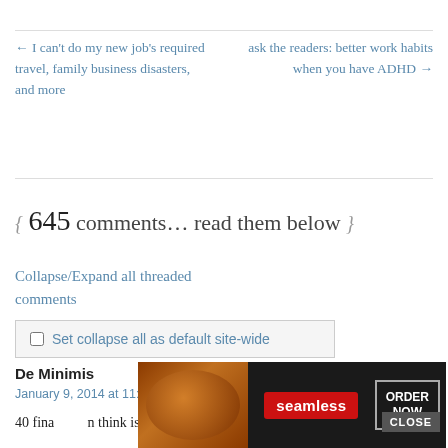← I can't do my new job's required travel, family business disasters, and more
ask the readers: better work habits when you have ADHD →
{ 645 comments… read them below }
Collapse/Expand all threaded comments
Set collapse all as default site-wide
De Minimis
January 9, 2014 at 11:05 am
40 fina… think is that t…
[Figure (screenshot): Advertisement overlay: Seamless food ordering ad with pizza image, red Seamless logo, and ORDER NOW button. A CLOSE button appears in the upper right of the ad.]